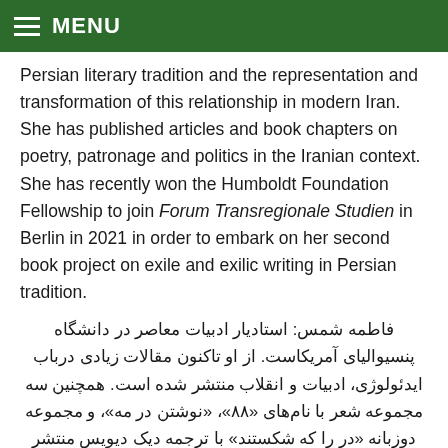MENU
Persian literary tradition and the representation and transformation of this relationship in modern Iran. She has published articles and book chapters on poetry, patronage and politics in the Iranian context. She has recently won the Humboldt Foundation Fellowship to join Forum Transregionale Studien in Berlin in 2021 in order to embark on her second book project on exile and exilic writing in Persian tradition.
فاطمه شمس: استادیار ادبیات معاصر در دانشگاه پنسیوالیای آمریکاست. از او تاکنون مقالات زیادی درباب ایدئولوژی، ادبیات و انقلاب منتشر شده است. همچنین سه مجموعه شعر با نام‌های «۸۸»، «نوشتن در مه»، و مجموعه دوزبانه «در را که شکستند» با ترجمه دیک دیویس منتشر شده است. او برنده جایزه شعر ژاله اصفهانی در سال ۲۰۱۲ و برنده جایزه کتاب سال لطیفه یارشاطر در سال ۲۰۱۶ است. کتاب جدید او «یک انقلاب مققًا: دستکاری ایدئولوژیک در شعر دوره جمهوری اسلامی» در سال ۲۰۲۱ توسط